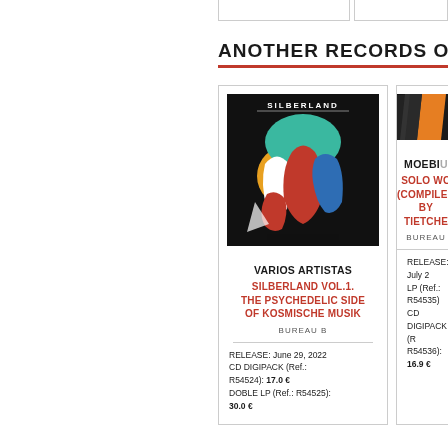ANOTHER RECORDS OF KOS...
[Figure (illustration): Album cover for Silberland Vol.1 - colorful abstract figures on black background with SILBERLAND text]
VARIOS ARTISTAS
SILBERLAND VOL.1. THE PSYCHEDELIC SIDE OF KOSMISCHE MUSIK
BUREAU B
RELEASE: June 29, 2022
CD DIGIPACK (Ref.: R54524): 17.0 €
DOBLE LP (Ref.: R54525): 30.0 €
[Figure (illustration): Partial album cover for Moebius release - dark with orange diagonal stripe]
MOEBI...
SOLO WO... (COMPILED BY TIETCHE...
BUREAU...
RELEASE: July ...
LP (Ref.: R54535)...
CD DIGIPACK (R... R54536): 16.9 €...